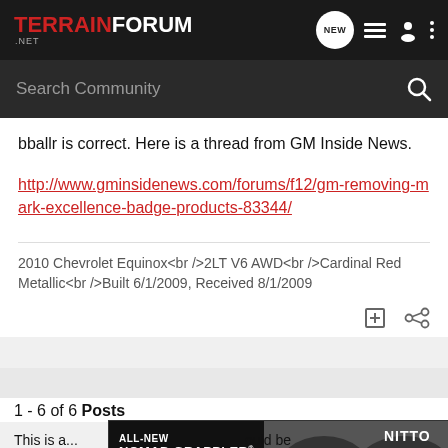TERRAIN FORUM .NET
bballr is correct. Here is a thread from GM Inside News.
http://www.gminsidenews.com/forums/f12/gm-removing-mark-excellence-badge-products-83344/
2010 Chevrolet Equinox<br />2LT V6 AWD<br />Cardinal Red Metallic<br />Built 6/1/2009, Received 8/1/2009
1 - 6 of 6 Posts
ALL-NEW NOMAD GRAPPLER® CROSSOVER-TERRAIN TIRE
This is a ... ould be